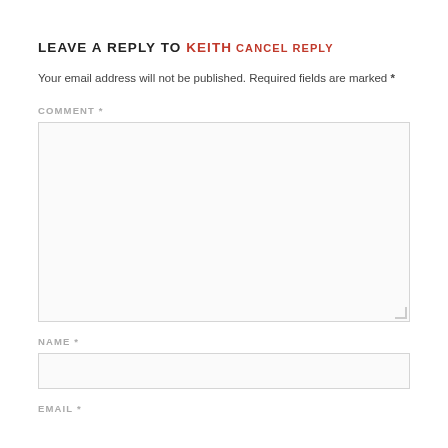LEAVE A REPLY TO KEITH CANCEL REPLY
Your email address will not be published. Required fields are marked *
COMMENT *
[Figure (other): Empty comment textarea input box]
NAME *
[Figure (other): Empty name text input box]
EMAIL *